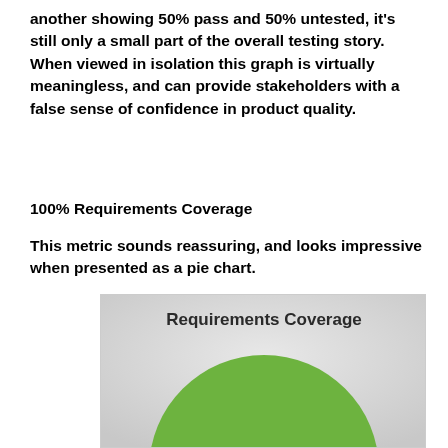another showing 50% pass and 50% untested, it's still only a small part of the overall testing story. When viewed in isolation this graph is virtually meaningless, and can provide stakeholders with a false sense of confidence in product quality.
100% Requirements Coverage
This metric sounds reassuring, and looks impressive when presented as a pie chart.
[Figure (pie-chart): A pie chart showing Requirements Coverage, with a large green slice representing 100% coverage filling the visible area of the chart.]